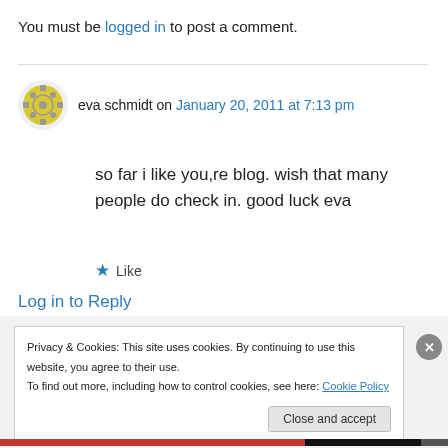You must be logged in to post a comment.
eva schmidt on January 20, 2011 at 7:13 pm
so far i like you,re blog. wish that many people do check in. good luck eva
★ Like
Log in to Reply
Privacy & Cookies: This site uses cookies. By continuing to use this website, you agree to their use. To find out more, including how to control cookies, see here: Cookie Policy